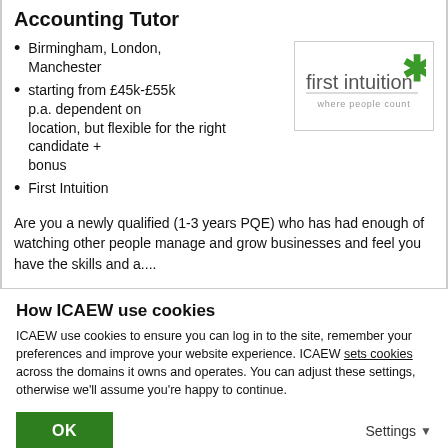Accounting Tutor
Birmingham, London, Manchester
starting from £45k-£55k p.a. dependent on location, but flexible for the right candidate + bonus
First Intuition
[Figure (logo): First Intuition logo with green asterisk and tagline 'where people count']
Are you a newly qualified (1-3 years PQE) who has had enough of watching other people manage and grow businesses and feel you have the skills and a....
How ICAEW use cookies
ICAEW use cookies to ensure you can log in to the site, remember your preferences and improve your website experience. ICAEW sets cookies across the domains it owns and operates. You can adjust these settings, otherwise we'll assume you're happy to continue.